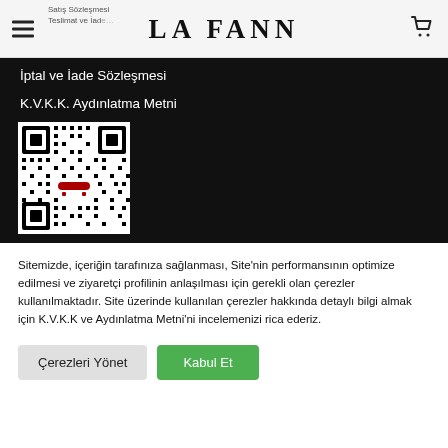LA FANN
İptal ve İade Sözleşmesi
K.V.K.K. Aydınlatma Metni
[Figure (other): QR code with a red and white logo in the center, black and white matrix barcode pattern]
Sitemizde, içeriğin tarafınıza sağlanması, Site'nin performansının optimize edilmesi ve ziyaretçi profilinin anlaşılması için gerekli olan çerezler kullanılmaktadır. Site üzerinde kullanılan çerezler hakkında detaylı bilgi almak için K.V.K.K ve Aydınlatma Metni'ni incelemenizi rica ederiz.
Çerezleri Yönet | Kabul Et